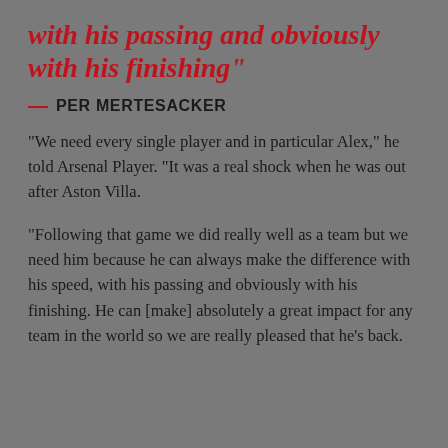with his passing and obviously with his finishing"
— PER MERTESACKER
“We need every single player and in particular Alex,” he told Arsenal Player. “It was a real shock when he was out after Aston Villa.
“Following that game we did really well as a team but we need him because he can always make the difference with his speed, with his passing and obviously with his finishing. He can [make] absolutely a great impact for any team in the world so we are really pleased that he’s back.